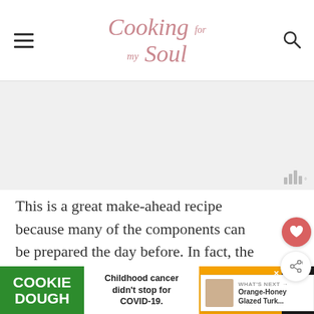Cooking for my Soul
[Figure (other): Advertisement placeholder area (gray background)]
This is a great make-ahead recipe because many of the components can be prepared the day before. In fact, the brine has to be done the night before so the turkey for 8 hours or so.
[Figure (other): WHAT'S NEXT → Orange-Honey Glazed Turk... with thumbnail image]
[Figure (other): Advertisement banner: COOKIE DOUGH - Childhood cancer didn't stop for COVID-19. - cookies for kids cancer GET BAKING]